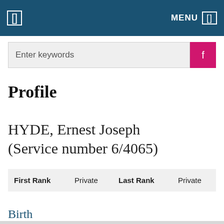MENU
Enter keywords
Profile
HYDE, Ernest Joseph (Service number 6/4065)
| First Rank |  | Last Rank |  |
| --- | --- | --- | --- |
| First Rank | Private | Last Rank | Private |
Birth